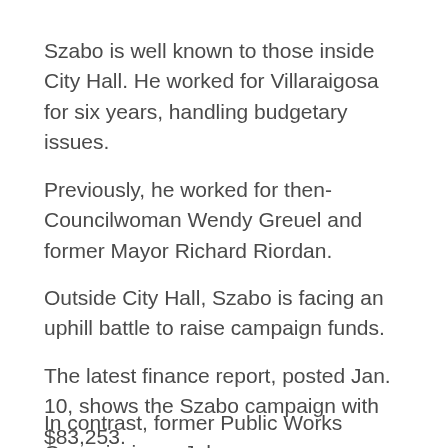Szabo is well known to those inside City Hall. He worked for Villaraigosa for six years, handling budgetary issues.
Previously, he worked for then-Councilwoman Wendy Greuel and former Mayor Richard Riordan.
Outside City Hall, Szabo is facing an uphill battle to raise campaign funds.
The latest finance report, posted Jan. 10, shows the Szabo campaign with $83,253.
In contrast, former Public Works Commissioner John